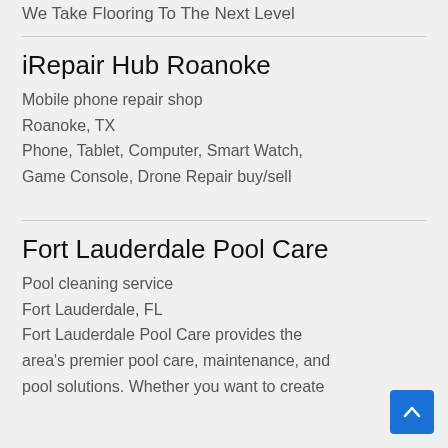We Take Flooring To The Next Level
iRepair Hub Roanoke
Mobile phone repair shop
Roanoke, TX
Phone, Tablet, Computer, Smart Watch, Game Console, Drone Repair buy/sell
Fort Lauderdale Pool Care
Pool cleaning service
Fort Lauderdale, FL
Fort Lauderdale Pool Care provides the area's premier pool care, maintenance, and pool solutions. Whether you want to create